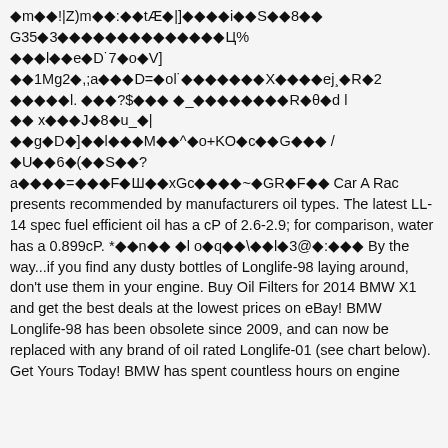◆m◆◆!|Z)m◆◆:◆◆tÆ◆|]◆◆◆◆i◆◆S◆◆8◆◆G35◆3◆◆◆◆◆◆◆◆◆◆◆◆◆◆◆Ц% ◆◆◆l◆◆e◆D˙7◆o◆V] ◆◆1Mg2◆,;a◆◆◆D=◆ol˙◆◆◆◆◆◆◆X◆◆◆◆ej¸◆R◆2 ◆◆◆◆◆l. ◆◆◆?$◆◆◆ ◆_◆◆◆◆◆◆◆◆R◆θ◆d l ◆◆ x◆◆◆J◆8◆u_◆| ◆◆g◆D◆]◆◆l◆◆◆M◆◆^◆o+KO◆c◆◆G◆◆◆ / ◆U◆◆6◆(◆◆S◆◆? a◆◆◆◆=◆◆◆F◆Ш◆◆xGc◆◆◆◆~◆GR◆F◆◆ Car A Rac presents recommended by manufacturers oil types. The latest LL-14 spec fuel efficient oil has a cP of 2.6-2.9; for comparison, water has a 0.899cP. *◆◆n◆◆ ◆l o◆q◆◆\◆◆l◆3@◆:◆◆◆ By the way...if you find any dusty bottles of Longlife-98 laying around, don't use them in your engine. Buy Oil Filters for 2014 BMW X1 and get the best deals at the lowest prices on eBay! BMW Longlife-98 has been obsolete since 2009, and can now be replaced with any brand of oil rated Longlife-01 (see chart below). Get Yours Today! BMW has spent countless hours on engine